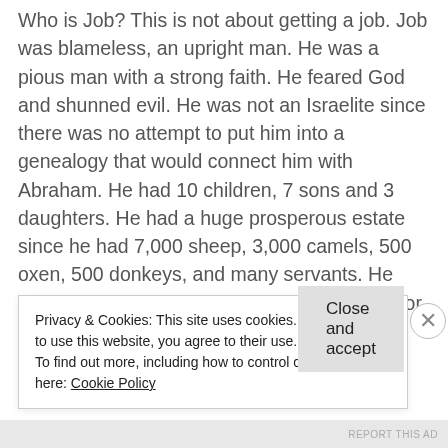Who is Job? This is not about getting a job. Job was blameless, an upright man. He was a pious man with a strong faith. He feared God and shunned evil. He was not an Israelite since there was no attempt to put him into a genealogy that would connect him with Abraham. He had 10 children, 7 sons and 3 daughters. He had a huge prosperous estate since he had 7,000 sheep, 3,000 camels, 500 oxen, 500 donkeys, and many servants. He was a rich guy, the greatest man in the east, or east of the Jordan
Privacy & Cookies: This site uses cookies. By continuing to use this website, you agree to their use.
To find out more, including how to control cookies, see here: Cookie Policy
Close and accept